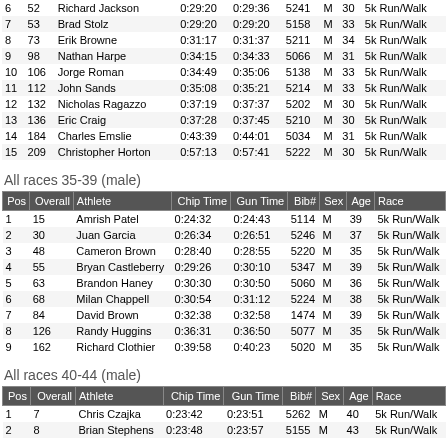| Pos | Overall | Athlete | Chip Time | Gun Time | Bib# | Sex | Age | Race |
| --- | --- | --- | --- | --- | --- | --- | --- | --- |
| 6 | 52 | Richard Jackson | 0:29:20 | 0:29:36 | 5241 | M | 30 | 5k Run/Walk |
| 7 | 53 | Brad Stolz | 0:29:20 | 0:29:20 | 5158 | M | 33 | 5k Run/Walk |
| 8 | 73 | Erik Browne | 0:31:17 | 0:31:37 | 5211 | M | 34 | 5k Run/Walk |
| 9 | 98 | Nathan Harpe | 0:34:15 | 0:34:33 | 5066 | M | 31 | 5k Run/Walk |
| 10 | 106 | Jorge Roman | 0:34:49 | 0:35:06 | 5138 | M | 33 | 5k Run/Walk |
| 11 | 112 | John Sands | 0:35:08 | 0:35:21 | 5214 | M | 33 | 5k Run/Walk |
| 12 | 132 | Nicholas Ragazzo | 0:37:19 | 0:37:37 | 5202 | M | 30 | 5k Run/Walk |
| 13 | 136 | Eric Craig | 0:37:28 | 0:37:45 | 5210 | M | 30 | 5k Run/Walk |
| 14 | 184 | Charles Emslie | 0:43:39 | 0:44:01 | 5034 | M | 31 | 5k Run/Walk |
| 15 | 209 | Christopher Horton | 0:57:13 | 0:57:41 | 5222 | M | 30 | 5k Run/Walk |
All races 35-39 (male)
| Pos | Overall | Athlete | Chip Time | Gun Time | Bib# | Sex | Age | Race |
| --- | --- | --- | --- | --- | --- | --- | --- | --- |
| 1 | 15 | Amrish Patel | 0:24:32 | 0:24:43 | 5114 | M | 39 | 5k Run/Walk |
| 2 | 30 | Juan Garcia | 0:26:34 | 0:26:51 | 5246 | M | 37 | 5k Run/Walk |
| 3 | 48 | Cameron Brown | 0:28:40 | 0:28:55 | 5220 | M | 35 | 5k Run/Walk |
| 4 | 55 | Bryan Castleberry | 0:29:26 | 0:30:10 | 5347 | M | 39 | 5k Run/Walk |
| 5 | 63 | Brandon Haney | 0:30:30 | 0:30:50 | 5060 | M | 36 | 5k Run/Walk |
| 6 | 68 | Milan Chappell | 0:30:54 | 0:31:12 | 5224 | M | 38 | 5k Run/Walk |
| 7 | 84 | David Brown | 0:32:38 | 0:32:58 | 1474 | M | 39 | 5k Run/Walk |
| 8 | 126 | Randy Huggins | 0:36:31 | 0:36:50 | 5077 | M | 35 | 5k Run/Walk |
| 9 | 162 | Richard Clothier | 0:39:58 | 0:40:23 | 5020 | M | 35 | 5k Run/Walk |
All races 40-44 (male)
| Pos | Overall | Athlete | Chip Time | Gun Time | Bib# | Sex | Age | Race |
| --- | --- | --- | --- | --- | --- | --- | --- | --- |
| 1 | 7 | Chris Czajka | 0:23:42 | 0:23:51 | 5262 | M | 40 | 5k Run/Walk |
| 2 | 8 | Brian Stephens | 0:23:48 | 0:23:57 | 5155 | M | 43 | 5k Run/Walk |